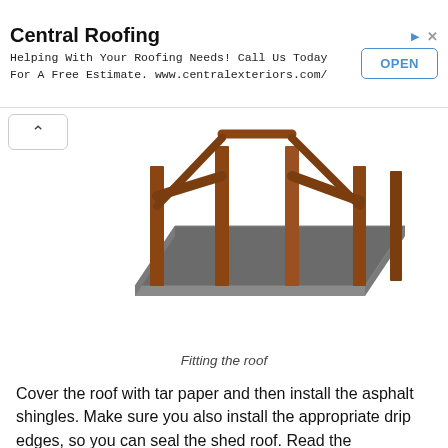[Figure (other): Advertisement banner for Central Roofing with title, subtitle text, and OPEN button]
[Figure (illustration): 3D illustration of a shed roof structure being fitted, showing wooden posts/beams and a gray flat roof panel from a perspective view]
Fitting the roof
Cover the roof with tar paper and then install the asphalt shingles. Make sure you also install the appropriate drip edges, so you can seal the shed roof. Read the manufacturer's instructions for a tight fit.